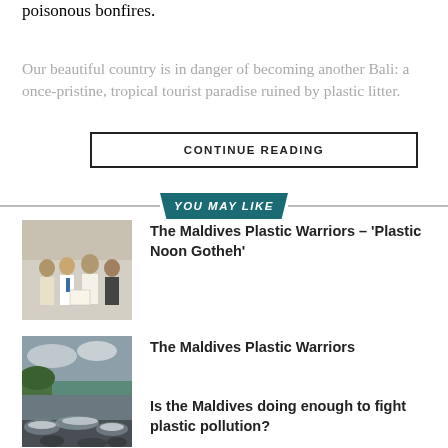poisonous bonfires.
Our beautiful country is in danger of becoming another Bali: a once-pristine, tropical tourist paradise ruined by plastic litter.
CONTINUE READING
YOU MAY LIKE
[Figure (photo): Group of people at a formal gathering, one person receiving a document]
The Maldives Plastic Warriors – 'Plastic Noon Gotheh'
[Figure (photo): Coastal beach with litter and overcast sky]
The Maldives Plastic Warriors
[Figure (photo): Waves crashing on a rocky shore]
Is the Maldives doing enough to fight plastic pollution?